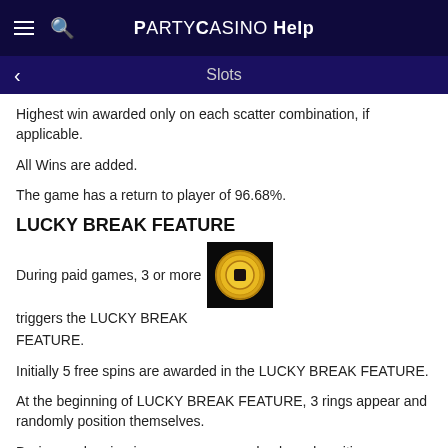PartyCasino Help
Slots
Highest win awarded only on each scatter combination, if applicable.
All Wins are added.
The game has a return to player of 96.68%.
LUCKY BREAK FEATURE
During paid games, 3 or more [coin symbol] triggers the LUCKY BREAK FEATURE.
Initially 5 free spins are awarded in the LUCKY BREAK FEATURE.
At the beginning of LUCKY BREAK FEATURE, 3 rings appear and randomly position themselves.
During each spin, rings may move randomly and position themselves at new locations on screen.